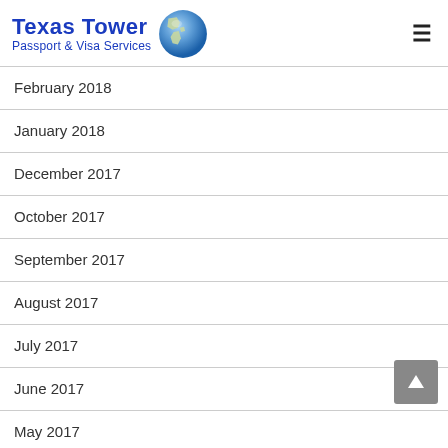Texas Tower Passport & Visa Services
February 2018
January 2018
December 2017
October 2017
September 2017
August 2017
July 2017
June 2017
May 2017